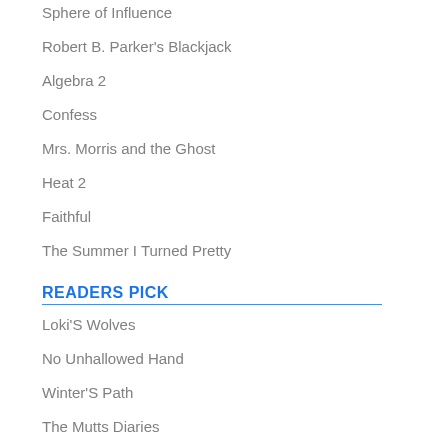Sphere of Influence
Robert B. Parker's Blackjack
Algebra 2
Confess
Mrs. Morris and the Ghost
Heat 2
Faithful
The Summer I Turned Pretty
READERS PICK
Loki'S Wolves
No Unhallowed Hand
Winter'S Path
The Mutts Diaries